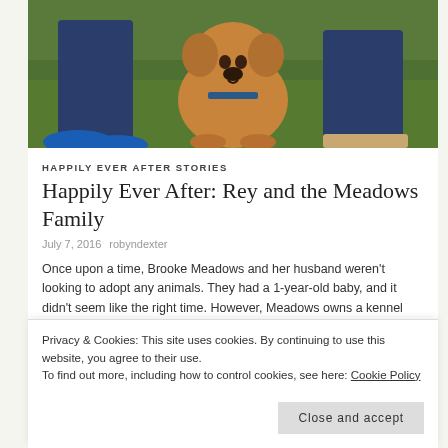[Figure (photo): A golden/tan dog sitting on green grass between two people's legs. One person wears blue sneakers and jeans, the other wears sandals and jeans. The dog is wearing a collar and looking at the camera.]
HAPPILY EVER AFTER STORIES
Happily Ever After: Rey and the Meadows Family
July 7, 2016   robyndexter
Once upon a time, Brooke Meadows and her husband weren't looking to adopt any animals. They had a 1-year-old baby, and it didn't seem like the right time. However, Meadows owns a kennel and does
Privacy & Cookies: This site uses cookies. By continuing to use this website, you agree to their use.
To find out more, including how to control cookies, see here: Cookie Policy
Close and accept